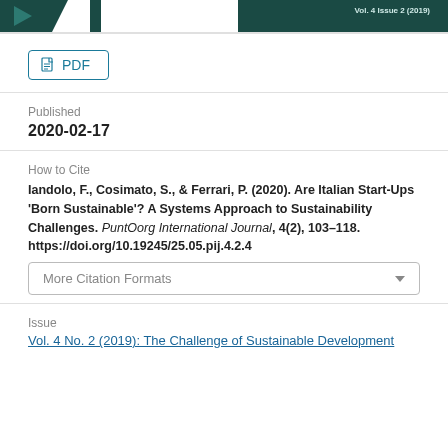[Figure (other): Top banner with dark green journal branding, including arrow logo, vertical bar, and 'Vol. 4 Issue 2 (2019)' text on right side]
PDF
Published
2020-02-17
How to Cite
Iandolo, F., Cosimato, S., & Ferrari, P. (2020). Are Italian Start-Ups 'Born Sustainable'? A Systems Approach to Sustainability Challenges. PuntOorg International Journal, 4(2), 103–118. https://doi.org/10.19245/25.05.pij.4.2.4
More Citation Formats
Issue
Vol. 4 No. 2 (2019): The Challenge of Sustainable Development